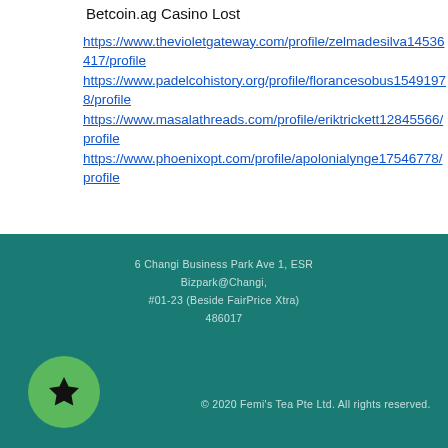Betcoin.ag Casino Lost
https://www.thevioletgateway.com/profile/zelmadesilva14536417/profile
https://www.padelcohistory.org/profile/florancesobus15491978/profile
https://www.masalathreads.com/profile/eriktrickett12845566/profile
https://www.phoenixopt.com/profile/apolonialynge17546778/profile
6 Changi Business Park Ave 1, ESR Bizpark@Changi, #01-23 (Beside FairPrice Xtra) 486017
© 2020 Femi's Tea Pte Ltd. All rights reserved.